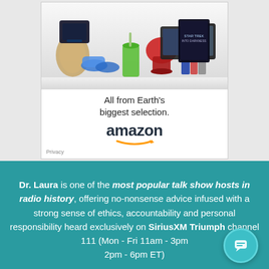[Figure (illustration): Amazon advertisement banner showing various products (handbag, gaming console, KitchenAid mixer, green smoothie, books, Kindle tablets, Star Trek movie) above the tagline 'All from Earth's biggest selection.' with the Amazon logo and a Privacy link.]
Dr. Laura is one of the most popular talk show hosts in radio history, offering no-nonsense advice infused with a strong sense of ethics, accountability and personal responsibility heard exclusively on SiriusXM Triumph channel 111 (Mon - Fri 11am - 3pm and 2pm - 6pm ET)